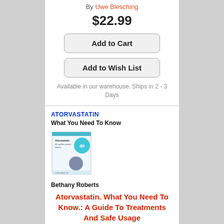(Paperback)
By Uwe Blesching
$22.99
Add to Cart
Add to Wish List
Available in our warehouse. Ships in 2 - 3 Days
ATORVASTATIN
What You Need To Know
[Figure (photo): Book cover for Atorvastatin: What You Need To Know, showing a white medication box with teal and dark blue pill imagery]
Bethany Roberts
Atorvastatin. What You Need To Know.: A Guide To Treatments And Safe Usage